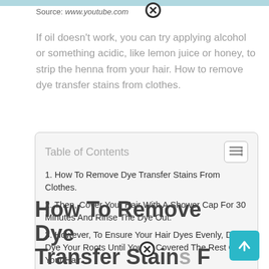Source: www.youtube.com
If oil doesn't work, you can try applying alcohol or something acidic, like lemon juice or honey, to strip the henna from your hair. How to remove dye transfer stains from clothes.
| Table of Contents |
| --- |
| 1. How To Remove Dye Transfer Stains From Clothes. |
| 2. Then, Cover Your Hair With A Shower Cap For 30 Minutes And Rinse The Dye Out. |
| 3. However, To Ensure Your Hair Dyes Evenly, Don't Dye Your Roots Until You've Covered The Rest Of Your Hair. |
How To Remove Dye Transfer Stains From Clothes